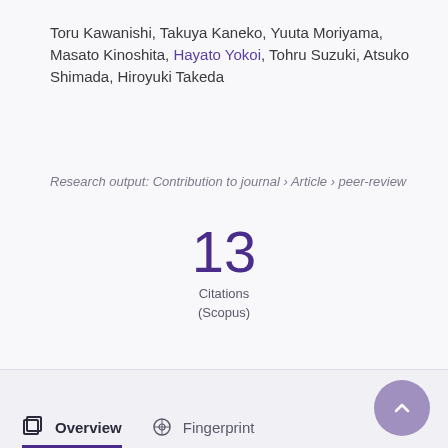Toru Kawanishi, Takuya Kaneko, Yuuta Moriyama, Masato Kinoshita, Hayato Yokoi, Tohru Suzuki, Atsuko Shimada, Hiroyuki Takeda
Research output: Contribution to journal › Article › peer-review
13 Citations (Scopus)
Overview   Fingerprint